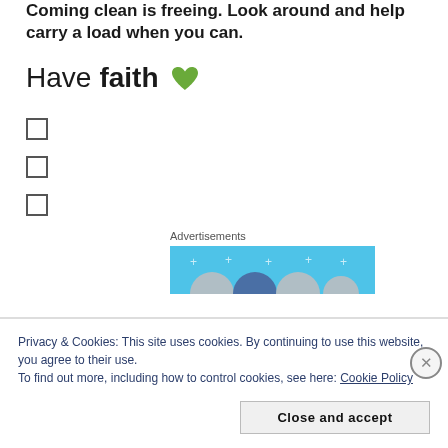Coming clean is freeing. Look around and help carry a load when you can.
Have faith 💚
[Figure (other): Advertisement banner with blue background and circular profile icons]
Privacy & Cookies: This site uses cookies. By continuing to use this website, you agree to their use.
To find out more, including how to control cookies, see here: Cookie Policy